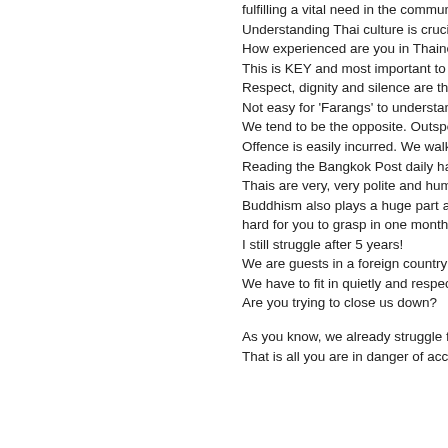fulfilling a vital need in the community for 11 years. Understanding Thai culture is crucial! Do you speak Thai? How experienced are you in Thainess and Buddhism? Have you are you a traveller/ visitor? This is KEY and most important to understand and to gain a amphuors, elders and local populations confidence and support o Respect, dignity and silence are the most dominant features 'Thainess'. Not easy for 'Farangs' to understand! We tend to be the opposite. Outspoken, pushy and loud!! Offence is easily incurred. We walk a tightrope! Reading the Bangkok Post daily has taught me a lot of manners! Thais are very, very polite and humble. Buddhism also plays a huge part and differs greatly to our c neutering and euthanasia. We have to be very careful and es issues, which would be hard for you to grasp in one month at the e I still struggle after 5 years! We are guests in a foreign country and are already stepping on t see this? We have to fit in quietly and respectfully as we want to carry on closed down, which is a constant threat and always a worry. Did y Are you trying to close us down? As you know, we already struggle for donations. Your blog could w who suffers? If you have a problem with certain humans, pleas That is all you are in danger of accomplishing, trust me.